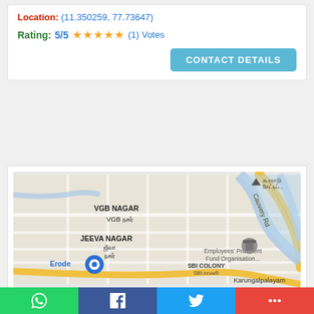Location: (11.350259, 77.73647)
Rating: 5/5 ★★★★★ (1) Votes
CONTACT DETAILS
[Figure (map): Google Maps view showing VGB Nagar, Jeeva Nagar, SBI Colony, Karungalpalayam area in Erode, Tamil Nadu. Shows Cauvery Rd, Employees' Provident Fund Organisation, and a location pin near Erode.]
Bhavihaa Tower
Unnamed Road, Krishnampalayam, Erode, Tamil
Share buttons: WhatsApp, Facebook, Twitter, More